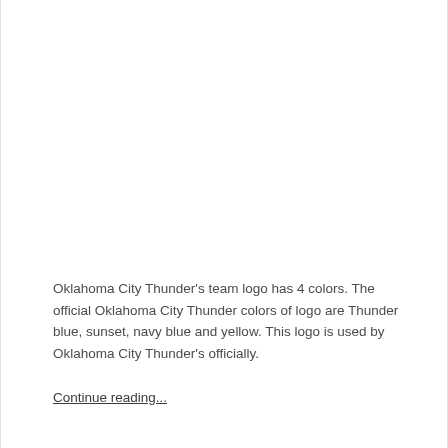Oklahoma City Thunder's team logo has 4 colors. The official Oklahoma City Thunder colors of logo are Thunder blue, sunset, navy blue and yellow. This logo is used by Oklahoma City Thunder's officially.
Continue reading...